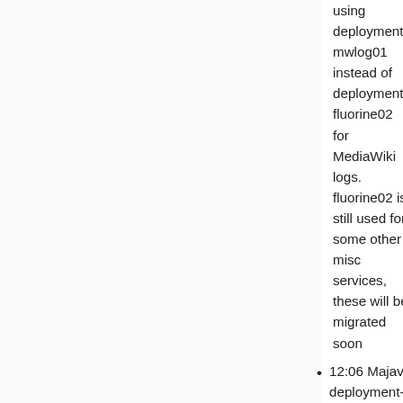using deployment-mwlog01 instead of deployment-fluorine02 for MediaWiki logs. fluorine02 is still used for some other misc services, these will be migrated soon
12:06 Majavah: deployment-prep Delete lists.beta.wmflabs.org DNS record, points to an unassigned floating IP and not used according to Amir
11:02 Majavah: live hacking https://gerrit.wikimedia.org/r/c/operations/mediawiki-config/+/668338/ on deployment-deploy01 to test new deployment-mwlog01 ref T276419
10:51 Majavah: stop bogus service udp2log on deployment-mwlog01, no idea what it is but it was using the same port as udp2log-mw.service is
09:20 hashar: Restored